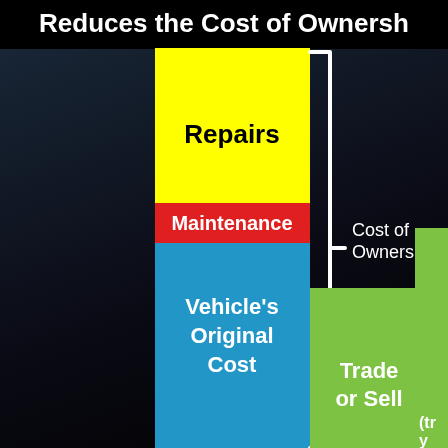Reduces the Cost of Ownership
[Figure (infographic): Stacked bar chart infographic showing cost of ownership components. First tall stacked bar has three segments: blue (Vehicle's Original Cost, bottom, large), red (Maintenance, middle, thin), yellow (Repairs, top, large). A white bracket groups all three segments labeling them 'Cost of Ownership'. A second bar partially visible on right shows green segment (Trade or Sell) and another green segment partially cut off labeled '(tr... y...'). Another 'Co... Ow...' label partially visible on right.]